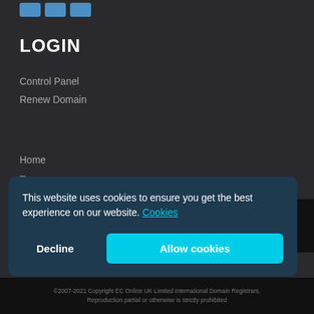[Figure (other): Three small social media icon boxes at top left]
LOGIN
Control Panel
Renew Domain
Home
Top
FAQ
About Us
This website uses cookies to ensure you get the best experience on our website. Cookies
Decline
Allow cookies
©2007-2021 Copyright EC Online UK Limited International Domain Registrars, Reproduction partial or otherwise is strictly prohibited